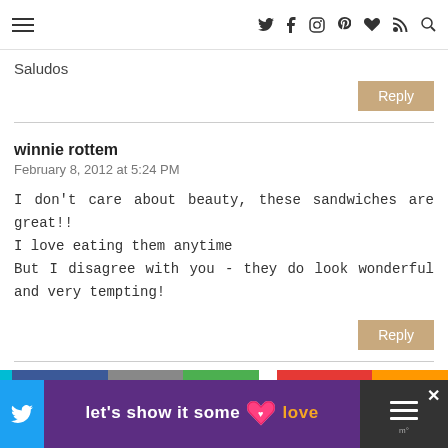≡  [social icons: twitter, facebook, instagram, pinterest, heart, rss, search]
Saludos
Reply
winnie rottem
February 8, 2012 at 5:24 PM
I don't care about beauty, these sandwiches are great!! I love eating them anytime But I disagree with you - they do look wonderful and very tempting!
Reply
[Figure (screenshot): Website comment section with navigation header, social share bar, and advertisement banner reading 'let's show it some love' with a heart icon on purple background]